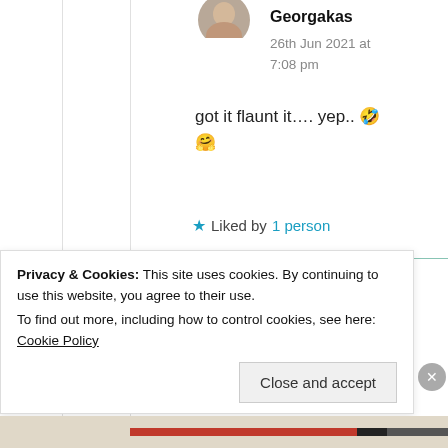Georgakas
26th Jun 2021 at 7:08 pm
got it flaunt it…. yep.. 🤣 🤗
★ Liked by 1 person
Suma Reddy
Privacy & Cookies: This site uses cookies. By continuing to use this website, you agree to their use.
To find out more, including how to control cookies, see here: Cookie Policy
Close and accept